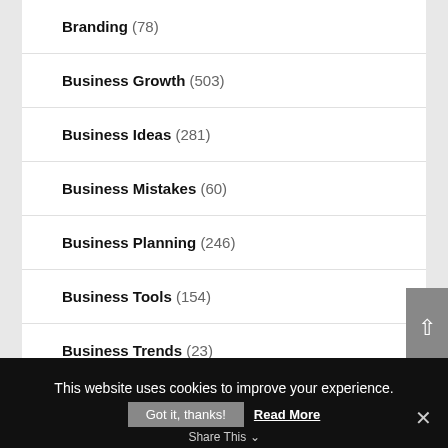Branding (78)
Business Growth (503)
Business Ideas (281)
Business Mistakes (60)
Business Planning (246)
Business Tools (154)
Business Trends (23)
Business Writing (62)
This website uses cookies to improve your experience.
Got it, thanks!
Read More
Share This